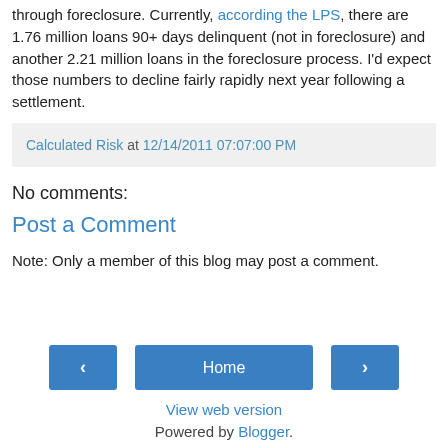through foreclosure. Currently, according the LPS, there are 1.76 million loans 90+ days delinquent (not in foreclosure) and another 2.21 million loans in the foreclosure process. I'd expect those numbers to decline fairly rapidly next year following a settlement.
Calculated Risk at 12/14/2011 07:07:00 PM
No comments:
Post a Comment
Note: Only a member of this blog may post a comment.
Home
View web version
Powered by Blogger.